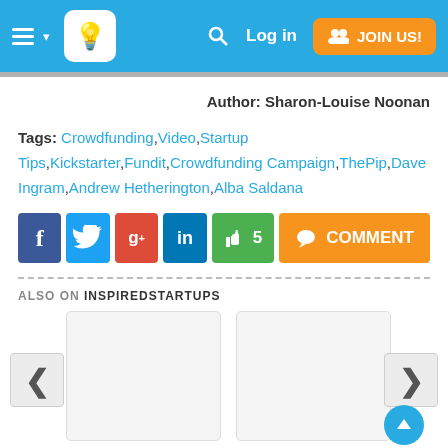Log in | JOIN US!
Author: Sharon-Louise Noonan
Tags: Crowdfunding,Video,Startup Tips,Kickstarter,Fundit,Crowdfunding Campaign,ThePip,Dave Ingram,Andrew Hetherington,Alba Saldana
[Figure (infographic): Social sharing buttons: Facebook, Twitter, Google+, LinkedIn, Like (5), Comment]
ALSO ON INSPIREDSTARTUPS
[Figure (infographic): Two article cards side by side with left and right navigation arrows and a scroll-to-top button]